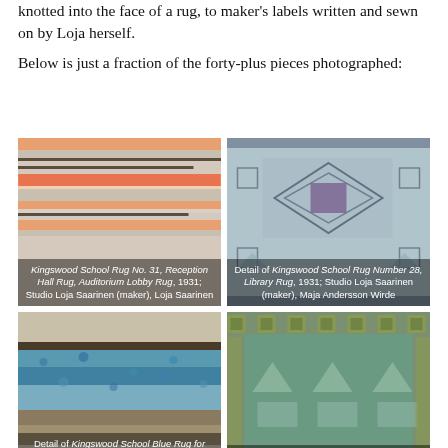knotted into the face of a rug, to maker's labels written and sewn on by Loja herself.
Below is just a fraction of the forty-plus pieces photographed:
[Figure (photo): Close-up of Kingswood School Rug No. 31, Reception Hall Rug, Auditorium Lobby Rug, 1931; Studio Loja Saarinen (maker), Loja Saarinen — showing horizontal stripe pattern in orange, cream, and black.]
[Figure (photo): Detail of Kingswood School Rug Number 28, Library Rug, 1931; Studio Loja Saarinen (maker), Maja Andersson Wirde — showing geometric diamond and square patterns in blue, purple, and tan.]
[Figure (photo): Detail of Kingswood School Blue Rug for Reception Room I, 1931; Studio Loja Saarinen — showing close-up of blue, brown, and cream wool pile.]
[Figure (photo): Rug with Animal Motif, 1932; Studio Loja Saarinen (maker), Maja Andersson Wirde — showing green rug with geometric animal motifs and border pattern.]